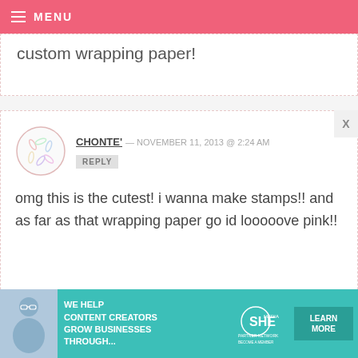MENU
custom wrapping paper!
CHONTE' — NOVEMBER 11, 2013 @ 2:24 AM
REPLY
omg this is the cutest! i wanna make stamps!! and as far as that wrapping paper go id looooove pink!!
NOEMI A. IGNACIO — NOVEMBER 11, 2013 @ 2:24 AM
REPLY
[Figure (infographic): Advertisement banner: SHE Media Partner Network - We help content creators grow businesses through... Learn More]